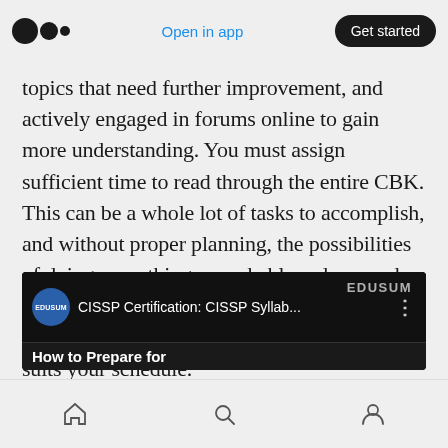Medium app header with logo, Open in app link, and Get started button
topics that need further improvement, and actively engaged in forums online to gain more understanding. You must assign sufficient time to read through the entire CBK. This can be a whole lot of tasks to accomplish, and without proper planning, the possibilities of doing everything remarkably reduce, and your chances of passing the exam decreases. You, hence, need to chart out a study plan that suits your schedule.
[Figure (screenshot): YouTube-style video embed showing EDUSUM channel with title 'CISSP Certification: CISSP Syllab...' and subtitle 'How to Prepare for']
Mobile navigation bar with home, search, and profile icons